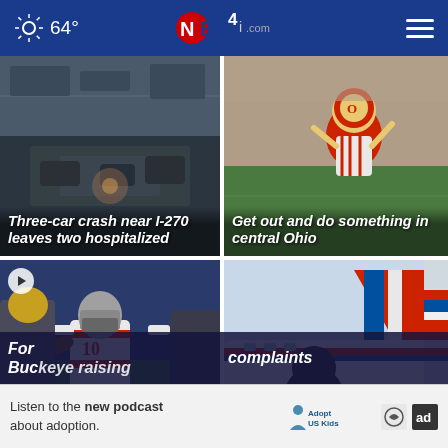64° NBC4i.com
[Figure (photo): Aerial view of a three-car crash near I-270 highway interchange]
Three-car crash near I-270 leaves two hospitalized
[Figure (photo): Ohio State Buckeye mascot Brutus on the football field with stadium crowd in background]
Get out and do something in central Ohio
[Figure (photo): Ohio State football player running with the ball during a game]
[Figure (photo): Silhouette of a person in front of an American Airlines plane tail]
Former Buckeye raising
complaints
Listen to the new podcast about adoption.
[Figure (logo): Adopt US Kids and ad logos]